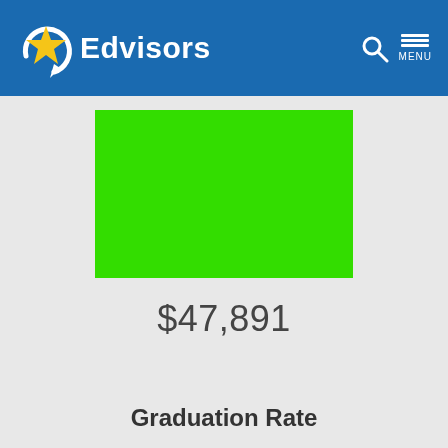Edvisors
[Figure (bar-chart): ]
Graduation Rate